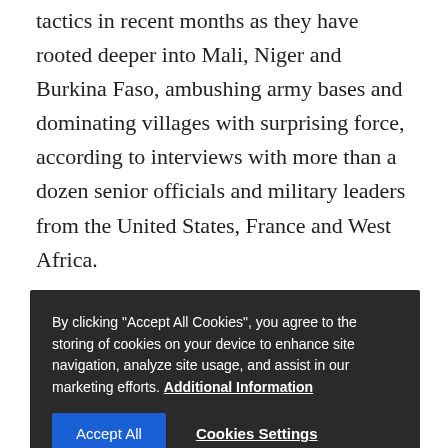tactics in recent months as they have rooted deeper into Mali, Niger and Burkina Faso, ambushing army bases and dominating villages with surprising force, according to interviews with more than a dozen senior officials and military leaders from the United States, France and West Africa.
The groups are not declaring "caliphates," so as to avoid drawing attention from the West, officials said, buying time to train, gather force and plot attacks that could ultimately reach major international targets.
A coalition of al-Qaida loyalists called JNIM has as many as 2,000 fighters in West Africa, according to a U.S. report released this month. The Islamic State in the Greater Sahara, which staged the 2017 attack that killed four...
By clicking "Accept All Cookies", you agree to the storing of cookies on your device to enhance site navigation, analyze site usage, and assist in our marketing efforts. Additional Information